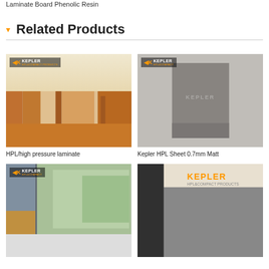Laminate Board Phenolic Resin
Related Products
[Figure (photo): HPL/high pressure laminate corridor installation photo with Kepler logo]
HPL/high pressure laminate
[Figure (photo): Kepler HPL Sheet 0.7mm Matt grey sheet product photo]
Kepler HPL Sheet 0.7mm Matt
[Figure (photo): Kepler showroom or installation photo]
[Figure (photo): Kepler HPL&Compact Products grey board photo]